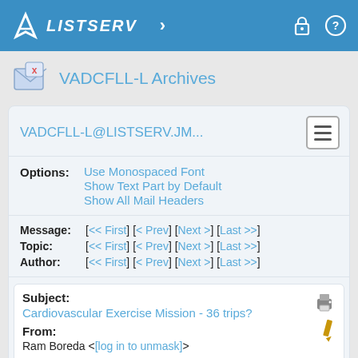LISTSERV
VADCFLL-L Archives
VADCFLL-L@LISTSERV.JM...
Options: Use Monospaced Font | Show Text Part by Default | Show All Mail Headers
Message: [<< First] [< Prev] [Next >] [Last >>]
Topic: [<< First] [< Prev] [Next >] [Last >>]
Author: [<< First] [< Prev] [Next >] [Last >>]
Subject: Cardiovascular Exercise Mission - 36 trips?
From: Ram Boreda <[log in to unmask]>
Reply To: Ram Boreda <[log in to unmask]>